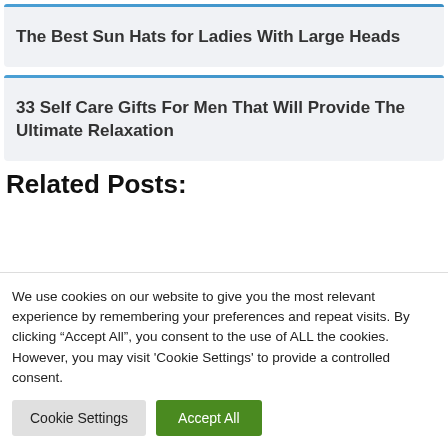The Best Sun Hats for Ladies With Large Heads
33 Self Care Gifts For Men That Will Provide The Ultimate Relaxation
Related Posts:
We use cookies on our website to give you the most relevant experience by remembering your preferences and repeat visits. By clicking “Accept All”, you consent to the use of ALL the cookies. However, you may visit 'Cookie Settings' to provide a controlled consent.